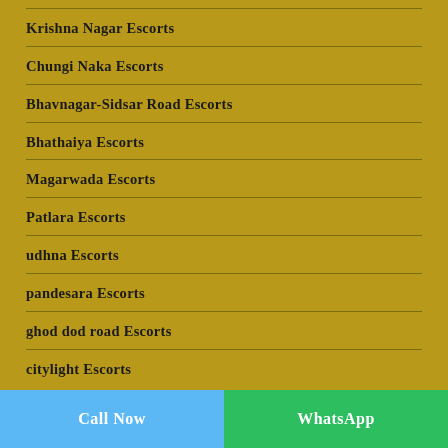Krishna Nagar Escorts
Chungi Naka Escorts
Bhavnagar-Sidsar Road Escorts
Bhathaiya Escorts
Magarwada Escorts
Patlara Escorts
udhna Escorts
pandesara Escorts
ghod dod road Escorts
citylight Escorts
Call Now   WhatsApp